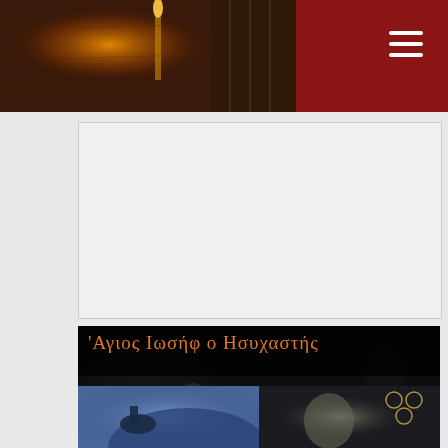[Figure (photo): Website header with candlelit religious imagery on dark red/brown background, with a hamburger menu icon on the right]
[Figure (photo): Advertisement placeholder area with light grey background]
[Figure (photo): Documentary film banner for 'Agios Iosif o Isychastis' (Saint Joseph the Hesychast) showing a monk figure in black robes, with Greek text title in orange and 'Ntokimanter / Deite Edo' (Documentary / Watch Here) label with cursor icon]
[Figure (photo): Bottom strip showing two video thumbnails - left shows a blue-toned scene with a figure on horseback, right shows a man's face with film festival laurels overlay]